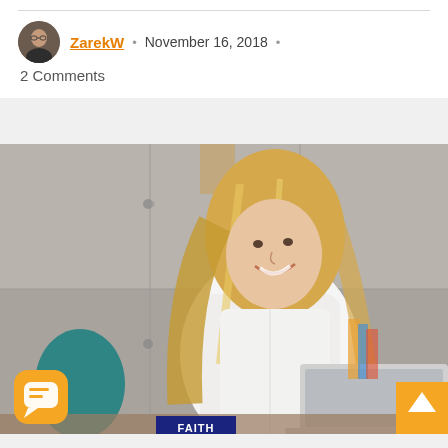ZarekW • November 16, 2018 •
2 Comments
[Figure (photo): Woman with blonde hair smiling and working on a laptop in a modern concrete-walled workspace. Orange chat button overlay bottom-left, orange scroll-to-top button bottom-right, blue FAITH label at bottom center.]